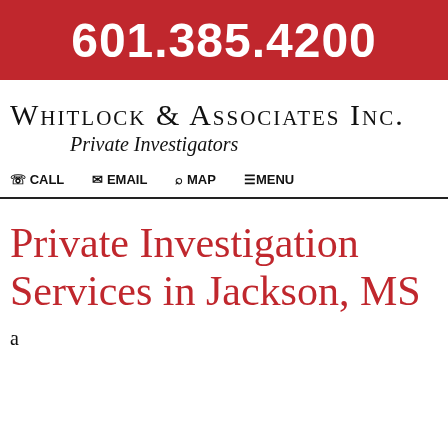601.385.4200
Whitlock & Associates Inc.
Private Investigators
CALL  EMAIL  MAP  MENU
Private Investigation Services in Jackson, MS
...